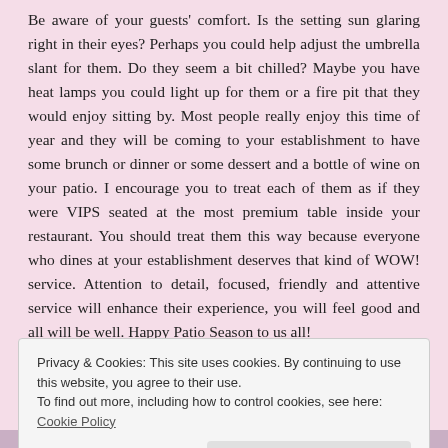Be aware of your guests' comfort.  Is the setting sun glaring right in their eyes? Perhaps you could help adjust the umbrella slant for them.  Do they seem a bit chilled?  Maybe you have heat lamps you could light up for them or a fire pit that they would enjoy sitting by.  Most people really enjoy this time of year and they will be coming to your establishment to have some brunch or dinner or some dessert and a bottle of wine on your patio.  I encourage you to treat each of them as if they were VIPS seated at the most premium table inside your restaurant.  You should treat them this way because everyone who dines at your establishment deserves that kind of WOW! service.  Attention to detail, focused, friendly and attentive service will enhance their experience, you will feel good and all will be well.  Happy Patio Season to us all!
THANK YOU ALL FOR READING! I am so grateful for all my Soupfly Readers from around the world! Please Like us on
Privacy & Cookies: This site uses cookies. By continuing to use this website, you agree to their use.
To find out more, including how to control cookies, see here: Cookie Policy